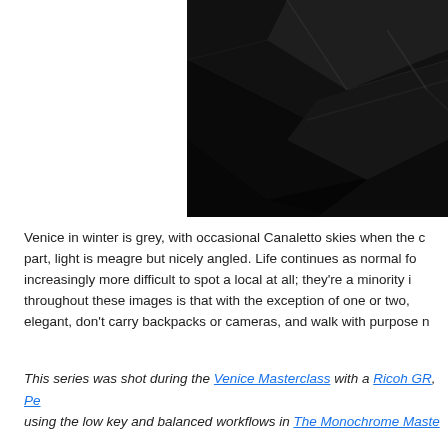[Figure (photo): Dark, nearly black photograph of what appears to be geometric shapes or architectural elements, shot in low-key monochrome style. Only the right portion of the image is visible, cut off on the left.]
Venice in winter is grey, with occasional Canaletto skies when the c... part, light is meagre but nicely angled. Life continues as normal for... increasingly more difficult to spot a local at all; they're a minority in... throughout these images is that with the exception of one or two,... elegant, don't carry backpacks or cameras, and walk with purpose n...
This series was shot during the Venice Masterclass with a Ricoh GR, Pe... using the low key and balanced workflows in The Monochrome Maste...